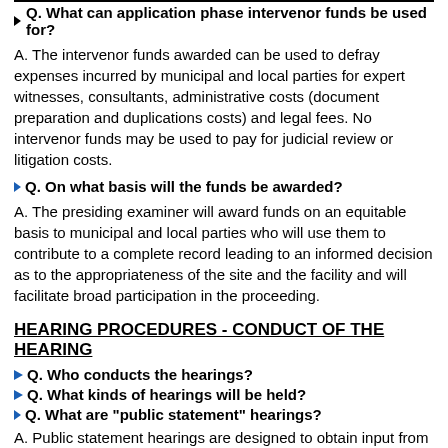Q. What can application phase intervenor funds be used for?
A. The intervenor funds awarded can be used to defray expenses incurred by municipal and local parties for expert witnesses, consultants, administrative costs (document preparation and duplications costs) and legal fees. No intervenor funds may be used to pay for judicial review or litigation costs.
Q. On what basis will the funds be awarded?
A. The presiding examiner will award funds on an equitable basis to municipal and local parties who will use them to contribute to a complete record leading to an informed decision as to the appropriateness of the site and the facility and will facilitate broad participation in the proceeding.
HEARING PROCEDURES - CONDUCT OF THE HEARING
Q. Who conducts the hearings?
Q. What kinds of hearings will be held?
Q. What are "public statement" hearings?
A. Public statement hearings are designed to obtain input from the general public. The format is designed for the taking of unsworn